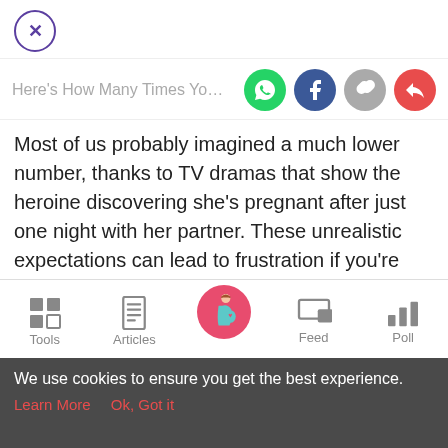[Figure (logo): Close button: circle with X, purple outline]
Here's How Many Times You Should
Most of us probably imagined a much lower number, thanks to TV dramas that show the heroine discovering she's pregnant after just one night with her partner. These unrealistic expectations can lead to frustration if you're trying to conceive.
[Figure (infographic): Bottom navigation bar with Tools, Articles, pregnant woman icon (home), Feed, Poll]
We use cookies to ensure you get the best experience.
Learn More   Ok, Got it